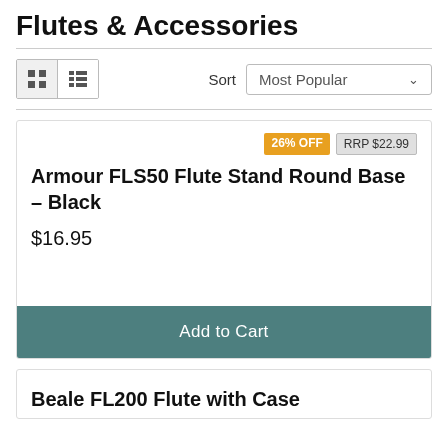Flutes & Accessories
[Figure (screenshot): Toolbar with grid/list view toggle buttons and a Sort dropdown set to 'Most Popular']
26% OFF   RRP $22.99
Armour FLS50 Flute Stand Round Base - Black
$16.95
Add to Cart
Beale FL200 Flute with Case